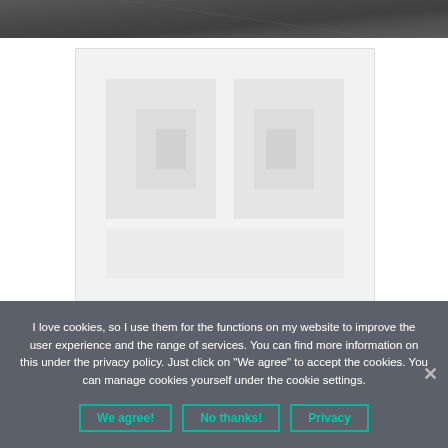[Figure (photo): Dark gray gradient image at the top of the page, resembling a dark surface or background]
[Figure (photo): Light gray placeholder image area with faint geometric shapes or watermark in the center]
I love cookies, so I use them for the functions on my website to improve the user experience and the range of services. You can find more information on this under the privacy policy. Just click on "We agree" to accept the cookies. You can manage cookies yourself under the cookie settings.
We agree!
No thanks!
Privacy